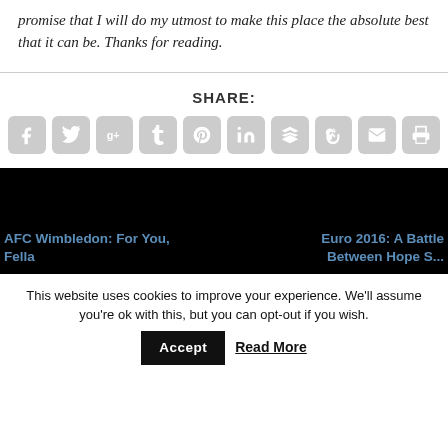promise that I will do my utmost to make this place the absolute best that it can be. Thanks for reading.
SHARE:
[Figure (infographic): Row of 10 social share icon buttons (Facebook, Twitter, Google+, Tumblr, Pinterest, LinkedIn, Buffer, StumbleUpon, Email, Print) in light grey rounded squares]
[Figure (photo): Black background image section with navigation links at bottom]
AFC Wimbledon: For You, Fella
Euro 2016: A Battle Between Hope S...
This website uses cookies to improve your experience. We'll assume you're ok with this, but you can opt-out if you wish.
Accept
Read More